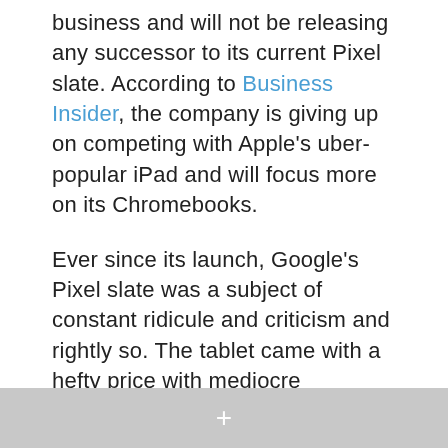business and will not be releasing any successor to its current Pixel slate. According to Business Insider, the company is giving up on competing with Apple's uber-popular iPad and will focus more on its Chromebooks.
Ever since its launch, Google's Pixel slate was a subject of constant ridicule and criticism and rightly so. The tablet came with a hefty price with mediocre specifications (barring the display), worst of all the tablet had extreme lag at a day and age where you can get snappy smartphones and tablets for as low as $150-200. Even one of Google's biggest supporter MKBHD criticized the Pixel slate for its